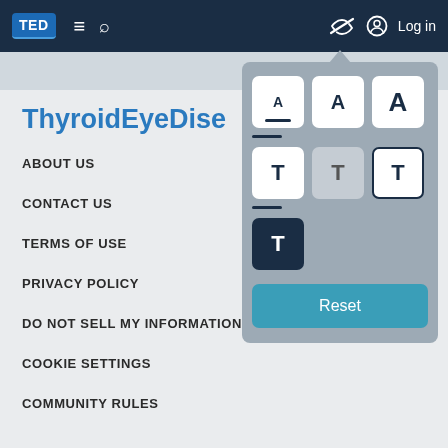TED  ≡  🔍  (eye-off icon)  Log in
ThyroidEyeDise...
ABOUT US
CONTACT US
TERMS OF USE
PRIVACY POLICY
DO NOT SELL MY INFORMATION
COOKIE SETTINGS
COMMUNITY RULES
[Figure (screenshot): Accessibility widget panel with font size buttons (A small, A medium, A large), color theme buttons (white T, gray T, outlined T, dark T), and a Reset button]